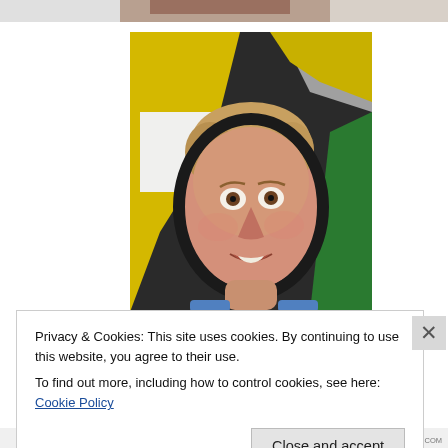[Figure (illustration): Partial view of a painted portrait at the very top of the page, showing just the lower portion of a face/chin against a dark background.]
[Figure (illustration): A painted portrait of a woman with short blonde/light hair, wide eyes, and a slightly open mouth. She appears distressed. The background is painted in bold geometric shapes of yellow, green, gray, and black.]
Privacy & Cookies: This site uses cookies. By continuing to use this website, you agree to their use.
To find out more, including how to control cookies, see here: Cookie Policy
Close and accept